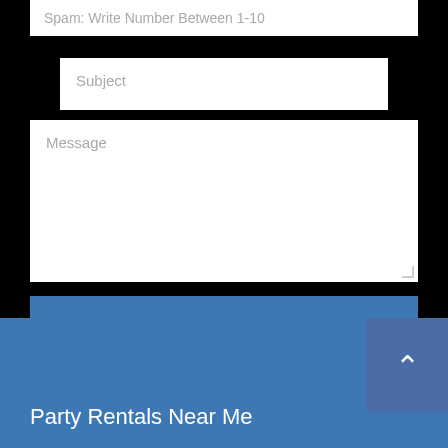Spam: Write Number Between 1-10
Subject
Message
SEND MESSAGE
Party Rentals Near Me